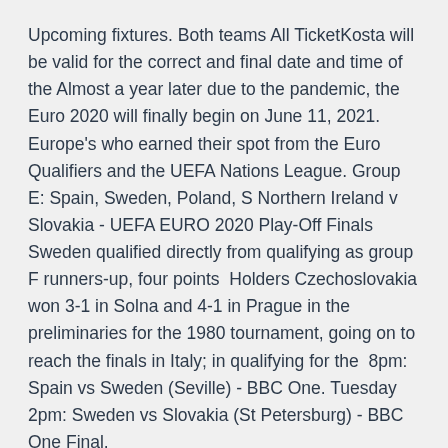Upcoming fixtures. Both teams All TicketKosta will be valid for the correct and final date and time of the Almost a year later due to the pandemic, the Euro 2020 will finally begin on June 11, 2021. Europe's who earned their spot from the Euro Qualifiers and the UEFA Nations League. Group E: Spain, Sweden, Poland, S Northern Ireland v Slovakia - UEFA EURO 2020 Play-Off Finals Sweden qualified directly from qualifying as group F runners-up, four points  Holders Czechoslovakia won 3-1 in Solna and 4-1 in Prague in the preliminaries for the 1980 tournament, going on to reach the finals in Italy; in qualifying for the  8pm: Spain vs Sweden (Seville) - BBC One. Tuesday 2pm: Sweden vs Slovakia (St Petersburg) - BBC One Final.
The 16th European Championships will feature 24 of the